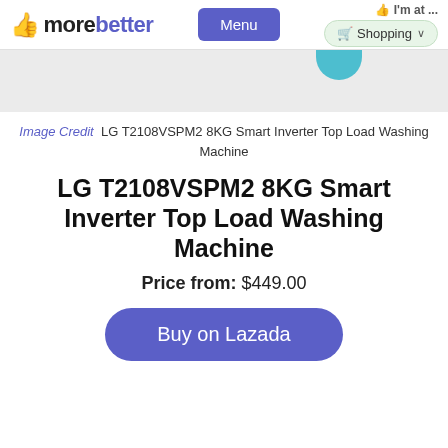morebetter  Menu  I'm at ...  Shopping
[Figure (other): Partial product image area showing top of washing machine, with teal decorative circle element]
Image Credit  LG T2108VSPM2 8KG Smart Inverter Top Load Washing Machine
LG T2108VSPM2 8KG Smart Inverter Top Load Washing Machine
Price from: $449.00
Buy on Lazada